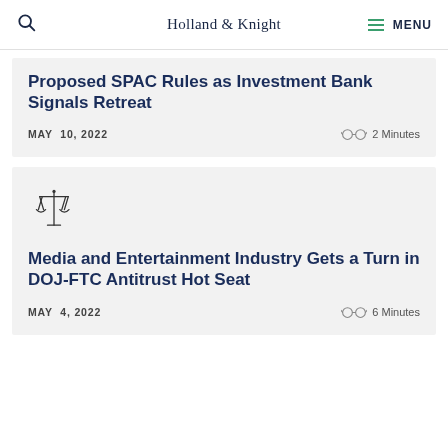Holland & Knight  MENU
Proposed SPAC Rules as Investment Bank Signals Retreat
MAY 10, 2022  2 Minutes
[Figure (illustration): Balance scales / justice scales icon]
Media and Entertainment Industry Gets a Turn in DOJ-FTC Antitrust Hot Seat
MAY 4, 2022  6 Minutes